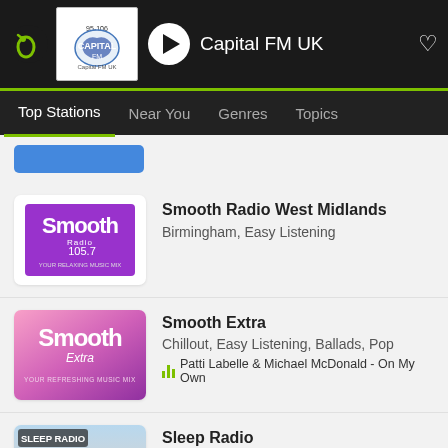Capital FM UK
Top Stations | Near You | Genres | Topics
Smooth Radio West Midlands
Birmingham, Easy Listening
Smooth Extra
Chillout, Easy Listening, Ballads, Pop
Patti Labelle & Michael McDonald - On My Own
Sleep Radio
Te Aroha, Easy Listening, Chillout, Ambient
Aeoliah - Merlin's Magic - The Light Touch [dVi]
Smooth Scotland